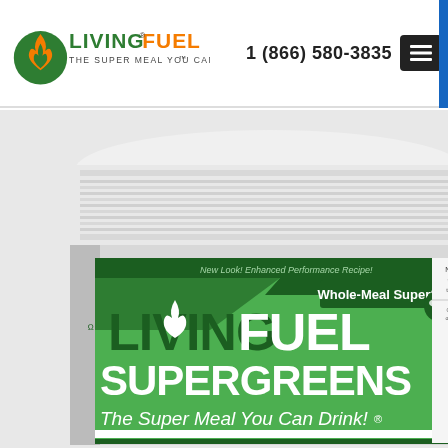LivingFuel - The Super Meal You Can Drink | 1 (866) 580-3835
[Figure (photo): LivingFuel SuperGreens product canister with white lid. The green label reads 'LivingFuel SuperGreens - The Super Meal You Can Drink!' and 'Whole-Meal Superfood'. Also reads 'New Look! Enhanced Performance Recipe!']